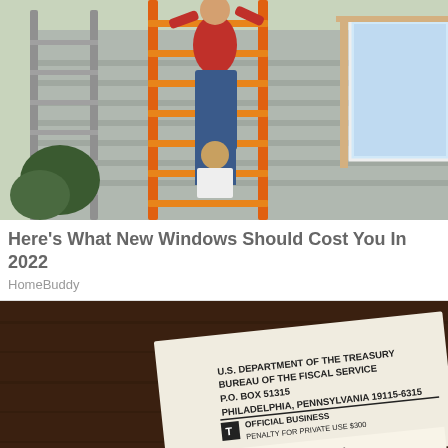[Figure (photo): Workers installing a window on a house exterior, with an orange ladder in the foreground and a person in a red shirt on a ladder]
Here's What New Windows Should Cost You In 2022
HomeBuddy
[Figure (photo): A U.S. Department of the Treasury Bureau of the Fiscal Service envelope/document showing address: P.O. Box 51315, Philadelphia, Pennsylvania 19115-6315, Official Business, Penalty for Private Use $300, and tracking number 04 24 20 2409880 K]